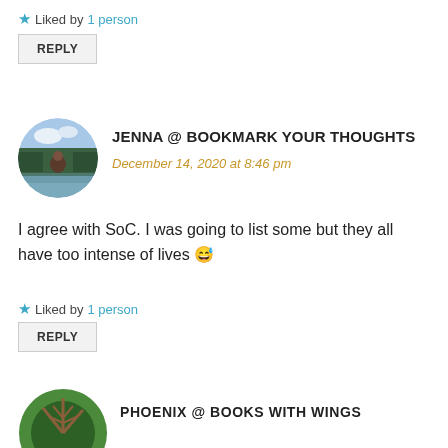★ Liked by 1 person
REPLY
[Figure (photo): Circular avatar photo of a person by a lake with trees]
JENNA @ BOOKMARK YOUR THOUGHTS
December 14, 2020 at 8:46 pm
I agree with SoC. I was going to list some but they all have too intense of lives 😅
★ Liked by 1 person
REPLY
[Figure (photo): Partial circular avatar with green tree illustration]
PHOENIX @ BOOKS WITH WINGS